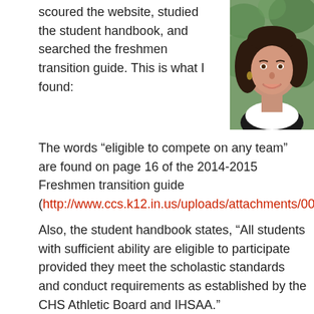scoured the website, studied the student handbook, and searched the freshmen transition guide. This is what I found:
[Figure (photo): Headshot photo of a smiling woman with dark hair, wearing a white top, outdoors with green foliage background]
The words “eligible to compete on any team” are found on page 16 of the 2014-2015 Freshmen transition guide (http://www.ccs.k12.in.us/uploads/attachments/0001/8087/transition_g...2015.pdf).
Also, the student handbook states, “All students with sufficient ability are eligible to participate provided they meet the scholastic standards and conduct requirements as established by the CHS Athletic Board and IHSAA.” http://www.ccs.k12.in.us/uploads/attachments/0001/8690/Pathways_1...15.pdf
Both of these statements are misleading and would be more accurately stated as „ligible to” … “were meant to”…